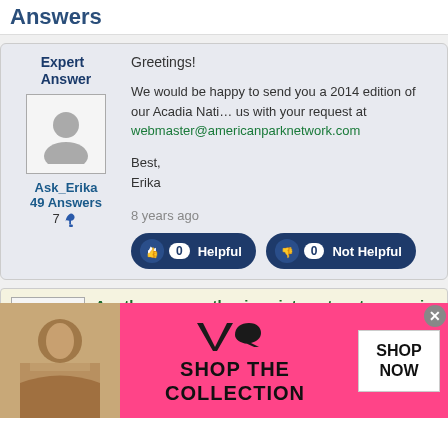Answers
Expert Answer
Ask_Erika
49 Answers
7
Greetings!

We would be happy to send you a 2014 edition of our Acadia Nati… us with your request at webmaster@americanparknetwork.com

Best,
Erika

8 years ago
0 Helpful   0 Not Helpful
Are there any authenic paiute outposts near zion o…
This question relates to the items listed below. Click each link for more in…
Bryce Canyon National Park, Astronomy/Stargazing, Bicycle Touring, Food/Di…
Horseback Riding
8 years ago
[Figure (photo): Victoria's Secret advertisement banner with model photo, VS logo, 'SHOP THE COLLECTION' text and 'SHOP NOW' button]